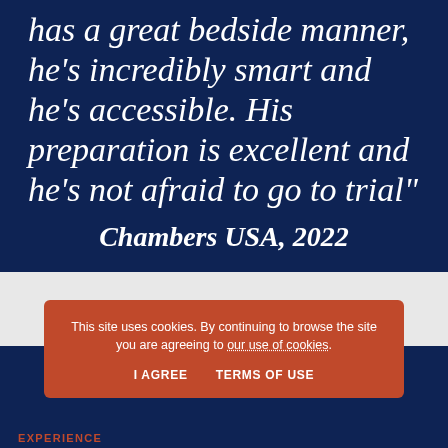has a great bedside manner, he's incredibly smart and he's accessible. His preparation is excellent and he's not afraid to go to trial"
Chambers USA, 2022
This site uses cookies. By continuing to browse the site you are agreeing to our use of cookies.
I AGREE
TERMS OF USE
EXPERIENCE